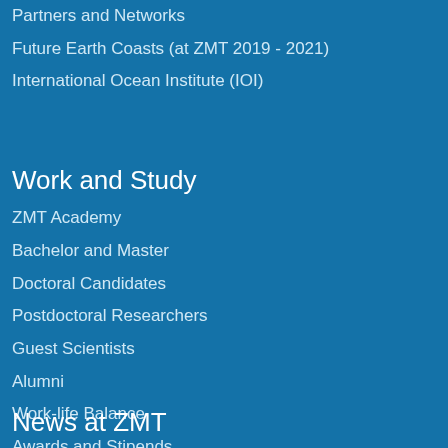Partners and Networks
Future Earth Coasts (at ZMT 2019 - 2021)
International Ocean Institute (IOI)
Work and Study
ZMT Academy
Bachelor and Master
Doctoral Candidates
Postdoctoral Researchers
Guest Scientists
Alumni
Work-life Balance
Awards and Stipends
Vocational Training
Vacancies
News at ZMT
In Focus